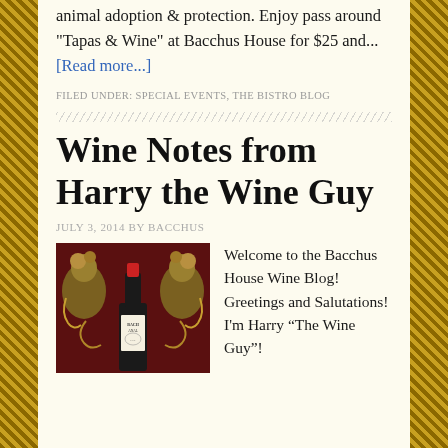animal adoption & protection. Enjoy pass around "Tapas & Wine" at Bacchus House for $25 and... [Read more...]
FILED UNDER: SPECIAL EVENTS, THE BISTRO BLOG
Wine Notes from Harry the Wine Guy
JULY 3, 2014 BY BACCHUS
[Figure (photo): Photo of a wine bottle labeled BACCHANAL with ornate bronze/gold figurine decorations on a dark red background]
Welcome to the Bacchus House Wine Blog! Greetings and Salutations! I'm Harry “The Wine Guy”!